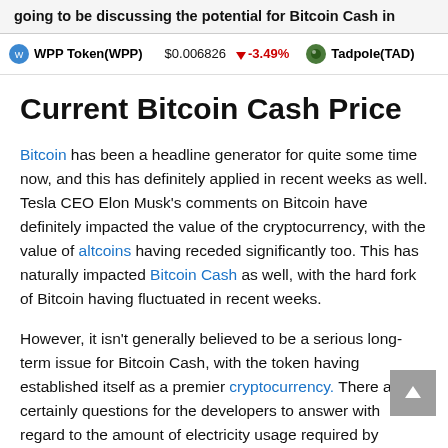going to be discussing the potential for Bitcoin Cash in
WPP Token(WPP)   $0.006826   -3.49%   Tadpole(TAD)
Current Bitcoin Cash Price
Bitcoin has been a headline generator for quite some time now, and this has definitely applied in recent weeks as well. Tesla CEO Elon Musk’s comments on Bitcoin have definitely impacted the value of the cryptocurrency, with the value of altcoins having receded significantly too. This has naturally impacted Bitcoin Cash as well, with the hard fork of Bitcoin having fluctuated in recent weeks.
However, it isn’t generally believed to be a serious long-term issue for Bitcoin Cash, with the token having established itself as a premier cryptocurrency. There are certainly questions for the developers to answer with regard to the amount of electricity usage required by Bitcoin, but the fundamentals of Bitcoin Cash remain strong. Cryptos are now a multi-trillion